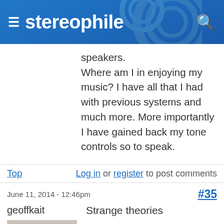stereophile
speakers.
Where am I in enjoying my music? I have all that I had with previous systems and much more. More importantly I have gained back my tone controls so to speak.
Top   Log in or register to post comments
June 11, 2014 - 12:46pm   #35
geoffkait
Strange theories
isoiP wrote,